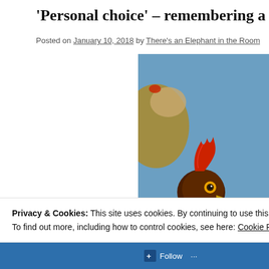'Personal choice' – remembering a lesson
Posted on January 10, 2018 by There's an Elephant in the Room
[Figure (photo): Close-up photograph of a brown chicken/hen with a red comb, looking at the camera. Another chicken is visible in the background. Blue background elements visible.]
Privacy & Cookies: This site uses cookies. By continuing to use this website, you agree to their use.
To find out more, including how to control cookies, see here: Cookie Policy
Close and accept